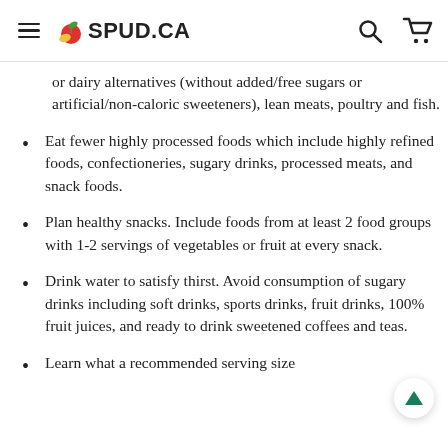SPUD.CA
or dairy alternatives (without added/free sugars or artificial/non-caloric sweeteners), lean meats, poultry and fish.
Eat fewer highly processed foods which include highly refined foods, confectioneries, sugary drinks, processed meats, and snack foods.
Plan healthy snacks. Include foods from at least 2 food groups with 1-2 servings of vegetables or fruit at every snack.
Drink water to satisfy thirst. Avoid consumption of sugary drinks including soft drinks, sports drinks, fruit drinks, 100% fruit juices, and ready to drink sweetened coffees and teas.
Learn what a recommended serving size